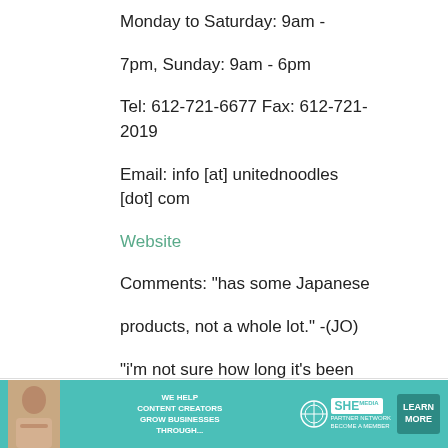Monday to Saturday: 9am - 7pm, Sunday: 9am - 6pm
Tel: 612-721-6677 Fax: 612-721-2019
Email: info [at] unitednoodles [dot] com
Website
Comments: "has some Japanese products, not a whole lot." -(JO) "i'm not sure how long it's been since you've been to united noodles, but last time i was
[Figure (infographic): Advertisement banner for SHE Media Partner Network: 'We help content creators grow businesses through...' with a Learn More button]